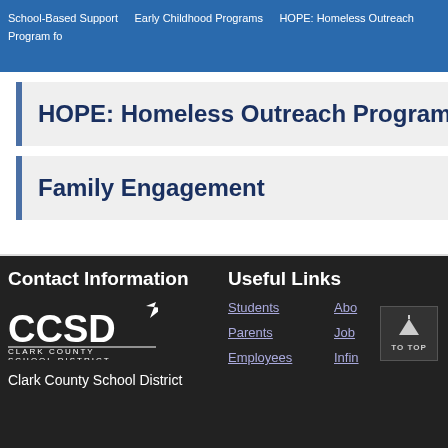School-Based Support   Early Childhood Programs   HOPE: Homeless Outreach Program fo
HOPE: Homeless Outreach Program
Family Engagement
Contact Information
[Figure (logo): CCSD Clark County School District logo in white on dark background]
Clark County School District
Useful Links
Students
Parents
Employees
Abo
Job
Infin